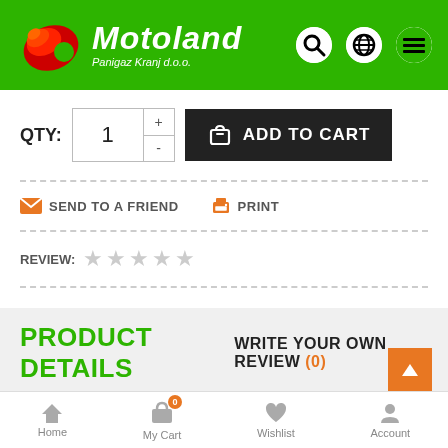[Figure (logo): Motoland Panigaz Kranj d.o.o. logo with red flame/wing icon on green background header, with search, globe, and menu icons on the right]
QTY: 1 ADD TO CART
SEND TO A FRIEND   PRINT
REVIEW: ☆☆☆☆☆
PRODUCT DETAILS   WRITE YOUR OWN REVIEW (0)
Reference 634521
Specific References
Home   My Cart (0)   Wishlist   Account